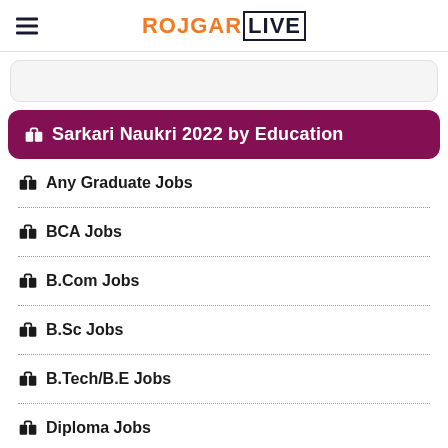ROJGAR LIVE
📋 Sarkari Naukri 2022 by Education
Any Graduate Jobs
BCA Jobs
B.Com Jobs
B.Sc Jobs
B.Tech/B.E Jobs
Diploma Jobs